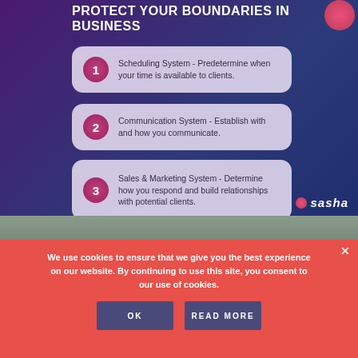PROTECT YOUR BOUNDARIES IN BUSINESS
1 - Scheduling System - Predetermine when your time is available to clients.
2 - Communication System - Establish with and how you communicate.
3 - Sales & Marketing System - Determine how you respond and build relationships with potential clients.
[Figure (photo): Partial view of a person's head from below, dark hair visible against a light background]
We use cookies to ensure that we give you the best experience on our website. By continuing to use this site, you consent to our use of cookies.
OK   READ MORE